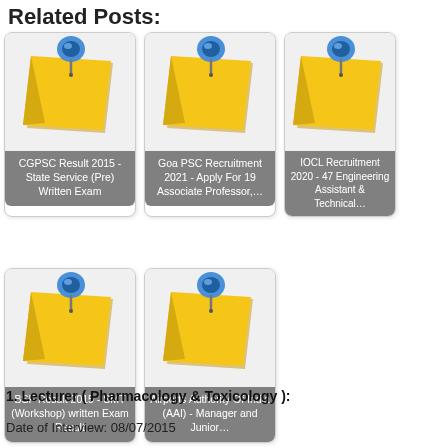Related Posts:
[Figure (illustration): Sticky note with blue pin icon - CGPSC Result 2015 - State Service (Pre) Written Exam]
[Figure (illustration): Sticky note with blue pin icon - Goa PSC Recruitment 2021 - Apply For 19 Associate Professor,...]
[Figure (illustration): Sticky note with blue pin icon - IOCL Recruitment 2020 - 47 Engineering Assistant & Technical...]
[Figure (illustration): Sticky note with blue pin icon - BSF Result 2015 - SMT (Workshop) written Exam Result]
[Figure (illustration): Sticky note with blue pin icon - Airports Authority Of India (AAI) - Manager and Junior...]
1. Lecturer ( Pharmacology & Toxicology ):
Date of Interview: 08/07/2015